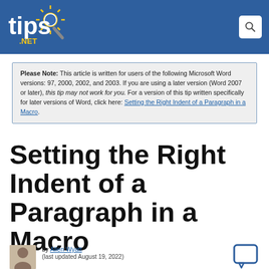tips.NET
Please Note: This article is written for users of the following Microsoft Word versions: 97, 2000, 2002, and 2003. If you are using a later version (Word 2007 or later), this tip may not work for you. For a version of this tip written specifically for later versions of Word, click here: Setting the Right Indent of a Paragraph in a Macro.
Setting the Right Indent of a Paragraph in a Macro
by Allen Wyatt
(last updated August 19, 2022)